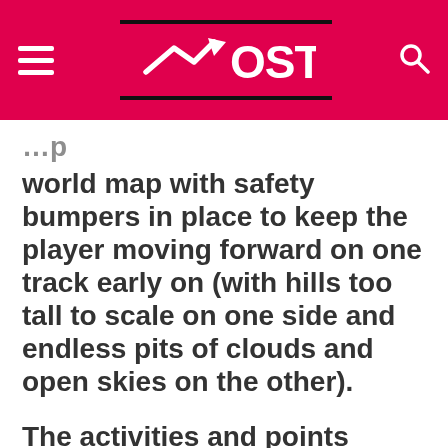OSTN
world map with safety bumpers in place to keep the player moving forward on one track early on (with hills too tall to scale on one side and endless pits of clouds and open skies on the other).
The activities and points